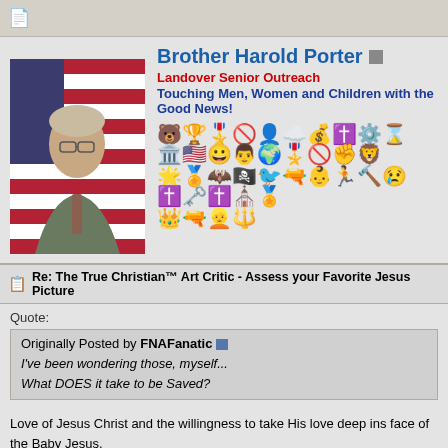Brother Harold Porter
Landover Senior Outreach
Touching Men, Women and Children with the Good News!
[Figure (photo): Profile photo of a middle-aged man in a suit with an American flag background, plus multiple small badge/emoji icons arranged in rows]
Re: The True Christian™ Art Critic - Assess your Favorite Jesus Picture
Quote:
Originally Posted by FNAFanatic
I've been wondering those, myself...
What DOES it take to be Saved?
Love of Jesus Christ and the willingness to take His love deep ins face of the Baby Jesus.
Maybe it is time to look within your own filthy soul? Admit that you